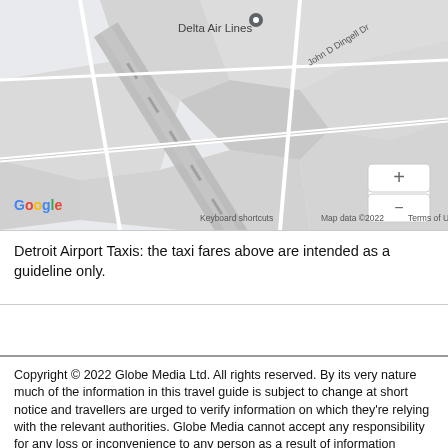[Figure (map): Google Maps screenshot showing Detroit Metropolitan Airport area with Delta Air Lines location marker, road labeled John D Dingell Dr, zoom controls (+/-) on right, and Google branding/attribution at bottom.]
Detroit Airport Taxis: the taxi fares above are intended as a guideline only.
Copyright © 2022 Globe Media Ltd. All rights reserved. By its very nature much of the information in this travel guide is subject to change at short notice and travellers are urged to verify information on which they're relying with the relevant authorities. Globe Media cannot accept any responsibility for any loss or inconvenience to any person as a result of information contained above.